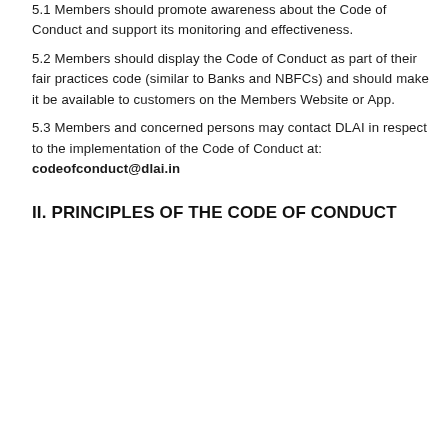5.1 Members should promote awareness about the Code of Conduct and support its monitoring and effectiveness.
5.2 Members should display the Code of Conduct as part of their fair practices code (similar to Banks and NBFCs) and should make it be available to customers on the Members Website or App.
5.3 Members and concerned persons may contact DLAI in respect to the implementation of the Code of Conduct at: codeofconduct@dlai.in
II. PRINCIPLES OF THE CODE OF CONDUCT